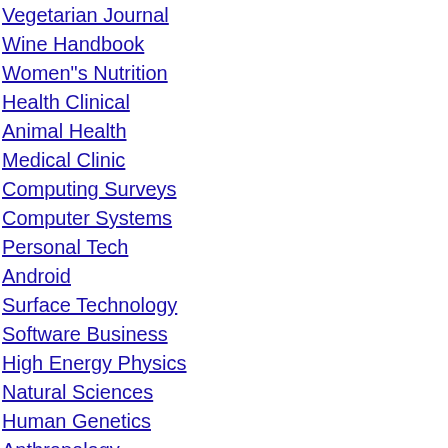Vegetarian Journal
Wine Handbook
Women"s Nutrition
Health Clinical
Animal Health
Medical Clinic
Computing Surveys
Computer Systems
Personal Tech
Android
Surface Technology
Software Business
High Energy Physics
Natural Sciences
Human Genetics
Anthropology
Animal Behaviour
Ergonomics
Neurology